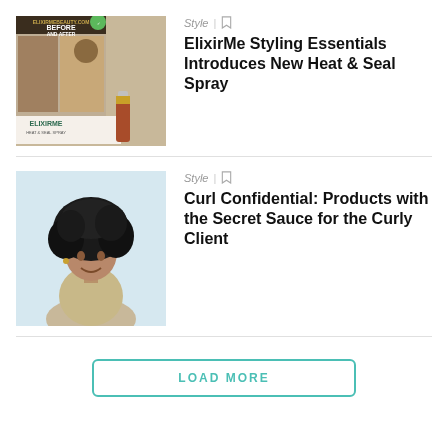[Figure (photo): ElixirMe Beauty before and after hair product advertisement image showing straight and wavy hair with ELIXIRME Heat & Seal Spray bottle]
Style | bookmark
ElixirMe Styling Essentials Introduces New Heat & Seal Spray
[Figure (photo): Woman with natural curly/coily afro hair smiling against light blue background]
Style | bookmark
Curl Confidential: Products with the Secret Sauce for the Curly Client
LOAD MORE